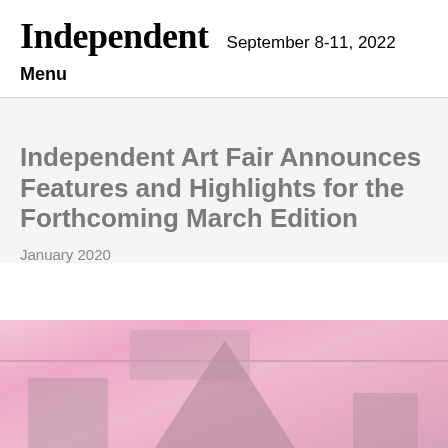Independent  September 8-11, 2022
Menu
Independent Art Fair Announces Features and Highlights for the Forthcoming March Edition
January 2020
[Figure (photo): Pink-hued interior scene with furniture or sculptural objects, likely an art fair installation photo]